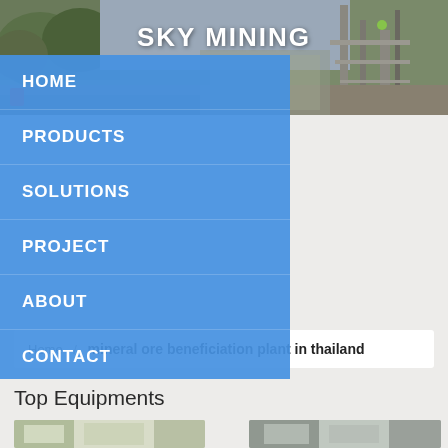[Figure (photo): Mining facility/industrial plant background photo for website header]
SKY MINING
HOME
PRODUCTS
SOLUTIONS
PROJECT
ABOUT
CONTACT
Home / mineral ore beneficiation plant in thailand
Top Equipments
[Figure (photo): Equipment thumbnail image left]
[Figure (photo): Equipment thumbnail image right]